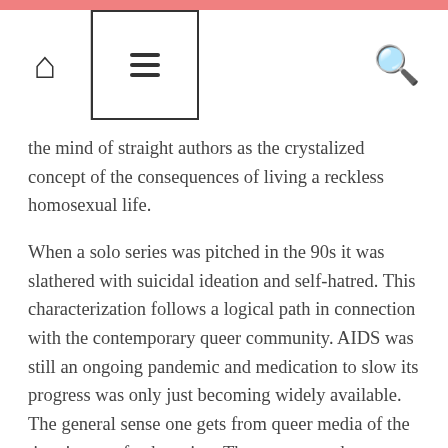Navigation bar with home, menu, and search icons
the mind of straight authors as the crystalized concept of the consequences of living a reckless homosexual life.
When a solo series was pitched in the 90s it was slathered with suicidal ideation and self-hatred. This characterization follows a logical path in connection with the contemporary queer community. AIDS was still an ongoing pandemic and medication to slow its progress was only just becoming widely available. The general sense one gets from queer media of the time is one of exhaustion. There are more homages to the dead than developments of new modes of living. The pall of mourning created a somber atmosphere which could cause a straight writer to resurrect